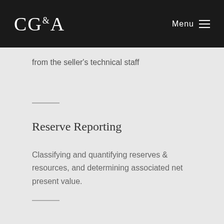CG&A  Menu
from the seller's technical staff
Reserve Reporting
Classifying and quantifying reserves & resources, and determining associated net present value.